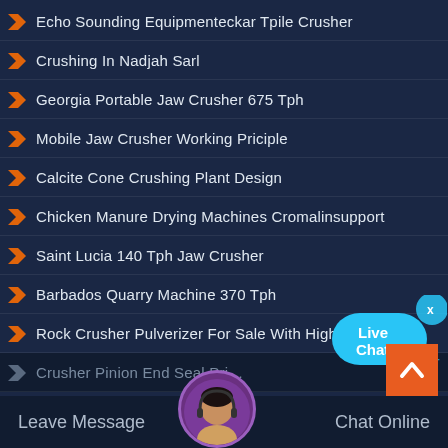Echo Sounding Equipmenteckar Tpile Crusher
Crushing In Nadjah Sarl
Georgia Portable Jaw Crusher 675 Tph
Mobile Jaw Crusher Working Priciple
Calcite Cone Crushing Plant Design
Chicken Manure Drying Machines Cromalinsupport
Saint Lucia 140 Tph Jaw Crusher
Barbados Quarry Machine 370 Tph
Rock Crusher Pulverizer For Sale With High Quality
Crusher Pinion End Seal Pri…
[Figure (infographic): Live Chat bubble with headset icon in cyan/blue]
[Figure (infographic): Orange scroll-to-top button with upward chevron]
Leave Message   Chat Online